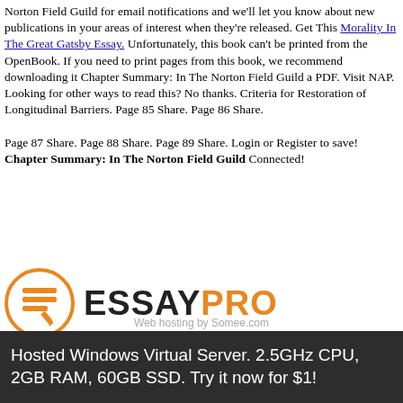Norton Field Guild for email notifications and we'll let you know about new publications in your areas of interest when they're released. Get This Morality In The Great Gatsby Essay. Unfortunately, this book can't be printed from the OpenBook. If you need to print pages from this book, we recommend downloading it Chapter Summary: In The Norton Field Guild a PDF. Visit NAP. Looking for other ways to read this? No thanks. Criteria for Restoration of Longitudinal Barriers. Page 85 Share. Page 86 Share.
Page 87 Share. Page 88 Share. Page 89 Share. Login or Register to save! Chapter Summary: In The Norton Field Guild Connected!
[Figure (logo): EssayPro logo with orange circle icon containing document lines and a pencil, followed by ESSAYPRO text in black and orange]
Follow us on facebook  Terms & Conditions  Privacy Policy  SiteMap  Refund Policy
© 2020-2021 sdplumbingnetau.somee.com™. All rights reserved.
Hosted Windows Virtual Server. 2.5GHz CPU, 2GB RAM, 60GB SSD. Try it now for $1!